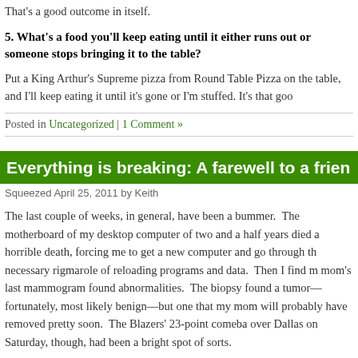That's a good outcome in itself.
5. What's a food you'll keep eating until it either runs out or someone stops bringing it to the table?
Put a King Arthur's Supreme pizza from Round Table Pizza on the table, and I'll keep eating it until it's gone or I'm stuffed. It's that goo
Posted in Uncategorized | 1 Comment »
Everything is breaking: A farewell to a frien
Squeezed April 25, 2011 by Keith
The last couple of weeks, in general, have been a bummer. The motherboard of my desktop computer of two and a half years died a horrible death, forcing me to get a new computer and go through the necessary rigmarole of reloading programs and data. Then I find my mom's last mammogram found abnormalities. The biopsy found a tumor—fortunately, most likely benign—but one that my mom will probably have removed pretty soon. The Blazers' 23-point comeba over Dallas on Saturday, though, had been a bright spot of sorts.
Still, nothing could have prepared me for what happened on Sunda a Japan-earthquake sized jolt.
I logged on to Twitter last night and found the mood on Twitter to be much gloomier than usual. What caught my eye was Ryan Ozawa